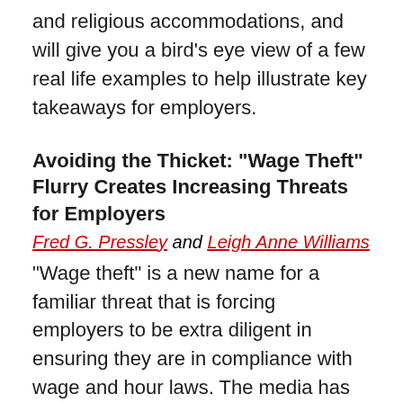and religious accommodations, and will give you a bird's eye view of a few real life examples to help illustrate key takeaways for employers.
Avoiding the Thicket: "Wage Theft" Flurry Creates Increasing Threats for Employers
Fred G. Pressley and Leigh Anne Williams
"Wage theft" is a new name for a familiar threat that is forcing employers to be extra diligent in ensuring they are in compliance with wage and hour laws. The media has "rebranded" this issue and plaintiffs' attorneys have caught on. This session will